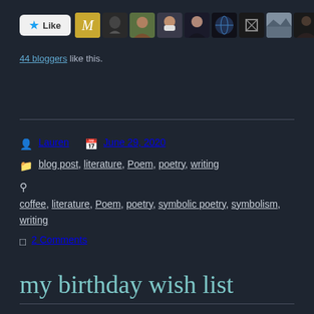[Figure (other): Like button and blogger avatar strip showing 44 bloggers who liked the post]
44 bloggers like this.
Lauren  June 29, 2020
blog post, literature, Poem, poetry, writing
coffee, literature, Poem, poetry, symbolic poetry, symbolism, writing
2 Comments
my birthday wish list